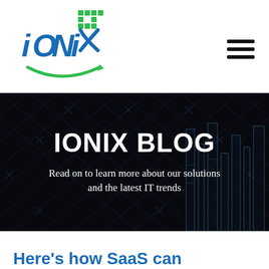[Figure (logo): IONIX company logo with blue and green swoosh design and green pixel grid icon]
[Figure (other): Hamburger menu icon (three horizontal lines)]
[Figure (illustration): Dark hero banner with abstract 3D wireframe city/building structures on dark background with diagonal grid lines]
IONIX BLOG
Read on to learn more about our solutions and the latest IT trends
Here's how SaaS can